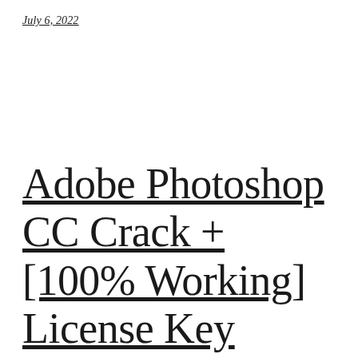July 6, 2022
Adobe Photoshop CC Crack + [100% Working] License Key Loose Obtain [Latest 2022]"